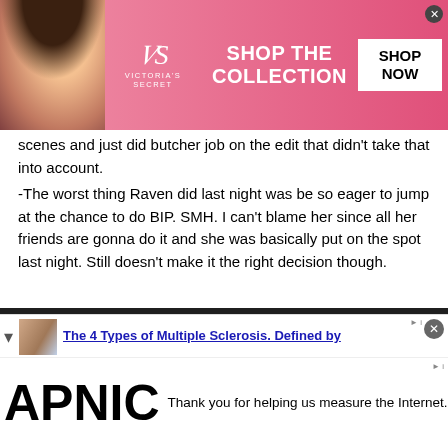[Figure (screenshot): Victoria's Secret advertisement banner with model, logo, 'SHOP THE COLLECTION' text, and 'SHOP NOW' button on pink background]
scenes and just did butcher job on the edit that didn't take that into account.
-The worst thing Raven did last night was be so eager to jump at the chance to do BIP. SMH. I can't blame her since all her friends are gonna do it and she was basically put on the spot last night. Still doesn't make it the right decision though.
-I... already been said. This tweet got a lot of fun last night. I think it speaks for itself.
This site uses cookies. By continuing to browse realitysteve.com you are agreeing to our use of cookies.
Do Not Sell My Personal Information
› Privacy Preferences
[Figure (screenshot): Bottom advertisement: The 4 Types of Multiple Sclerosis. Defined by (with thumbnail)]
[Figure (screenshot): APNIC advertisement: Thank you for helping us measure the Internet.]